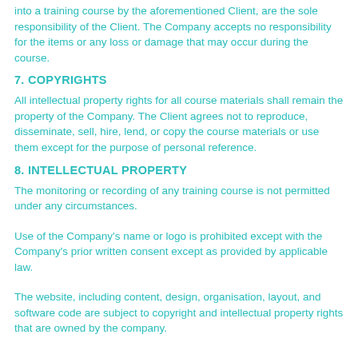into a training course by the aforementioned Client, are the sole responsibility of the Client. The Company accepts no responsibility for the items or any loss or damage that may occur during the course.
7. COPYRIGHTS
All intellectual property rights for all course materials shall remain the property of the Company. The Client agrees not to reproduce, disseminate, sell, hire, lend, or copy the course materials or use them except for the purpose of personal reference.
8. INTELLECTUAL PROPERTY
The monitoring or recording of any training course is not permitted under any circumstances.
Use of the Company's name or logo is prohibited except with the Company's prior written consent except as provided by applicable law.
The website, including content, design, organisation, layout, and software code are subject to copyright and intellectual property rights that are owned by the company.